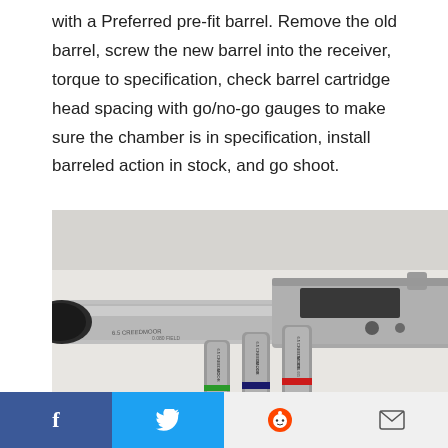with a Preferred pre-fit barrel. Remove the old barrel, screw the new barrel into the receiver, torque to specification, check barrel cartridge head spacing with go/no-go gauges to make sure the chamber is in specification, install barreled action in stock, and go shoot.
[Figure (photo): Close-up photo of a stainless steel rifle barrel and receiver assembly, with four go/no-go headspace gauges in the foreground labeled '6.5 Creedmoor' with green and red bands.]